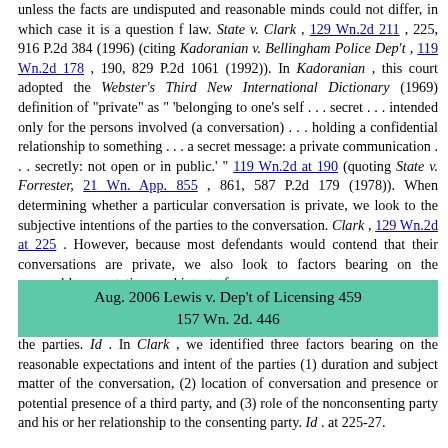unless the facts are undisputed and reasonable minds could not differ, in which case it is a question f law. State v. Clark , 129 Wn.2d 211 , 225, 916 P.2d 384 (1996) (citing Kadoranian v. Bellingham Police Dep't , 119 Wn.2d 178 , 190, 829 P.2d 1061 (1992)). In Kadoranian , this court adopted the Webster's Third New International Dictionary (1969) definition of "private" as " 'belonging to one's self . . . secret . . . intended only for the persons involved (a conversation) . . . holding a confidential relationship to something . . . a secret message: a private communication . . . secretly: not open or in public.' " 119 Wn.2d at 190 (quoting State v. Forrester, 21 Wn. App. 855 , 861, 587 P.2d 179 (1978)). When determining whether a particular conversation is private, we look to the subjective intentions of the parties to the conversation. Clark , 129 Wn.2d at 225 . However, because most defendants would contend that their conversations are private, we also look to factors bearing on the reasonable expectations and intent of
Aug. 2006 Lewis v. Dep't of Licensing 459
157 Wn. 2d. 446
the parties. Id . In Clark , we identified three factors bearing on the reasonable expectations and intent of the parties (1) duration and subject matter of the conversation, (2) location of conversation and presence or potential presence of a third party, and (3) role of the nonconsenting party and his or her relationship to the consenting party. Id . at 225-27.